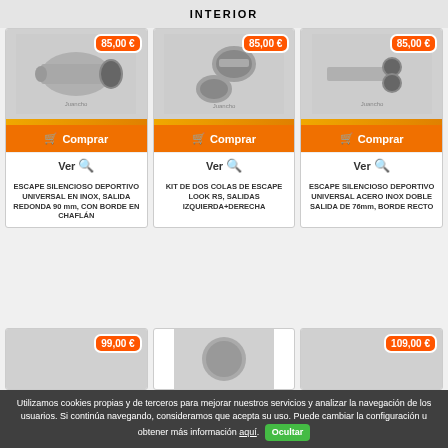INTERIOR
[Figure (photo): Exhaust tip silencer product image, single round outlet - price 85,00 €]
[Figure (photo): Kit of two exhaust tips look RS, left+right outlets - price 85,00 €]
[Figure (photo): Exhaust silencer double outlet 76mm straight edge - price 85,00 €]
ESCAPE SILENCIOSO DEPORTIVO UNIVERSAL EN INOX, SALIDA REDONDA 90 mm, CON BORDE EN CHAFLÁN
KIT DE DOS COLAS DE ESCAPE LOOK RS, SALIDAS IZQUIERDA+DERECHA
ESCAPE SILENCIOSO DEPORTIVO UNIVERSAL ACERO INOX DOBLE SALIDA DE 76mm, BORDE RECTO
[Figure (photo): Product card partial view - price 99,00 €]
[Figure (photo): Product card partial view - circular exhaust tip]
[Figure (photo): Product card partial view - price 109,00 €]
Utilizamos cookies propias y de terceros para mejorar nuestros servicios y analizar la navegación de los usuarios. Si continúa navegando, consideramos que acepta su uso. Puede cambiar la configuración u obtener más información aquí. Ocultar